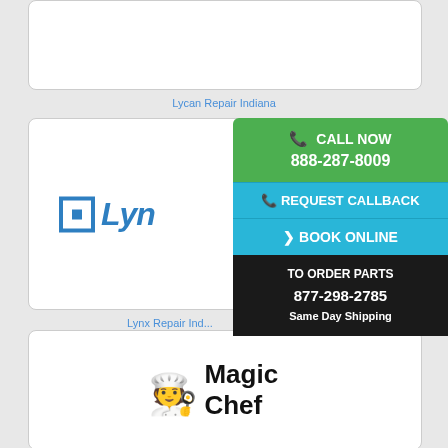[Figure (screenshot): Top card - Lycan Repair Indiana listing card (white rounded rectangle, mostly blank/empty)]
Lycan Repair Indiana
[Figure (screenshot): Middle card - Lynx Repair Indiana listing card with Lynx brand logo partially visible]
[Figure (infographic): Overlay panel with call-to-action buttons: CALL NOW 888-287-8009 (green), REQUEST CALLBACK (light blue), BOOK ONLINE (light blue), TO ORDER PARTS 877-298-2785 Same Day Shipping (black)]
Lynx Repair Ind...
[Figure (screenshot): Bottom card - Magic Chef brand repair listing card with Magic Chef logo (chef figure with text)]